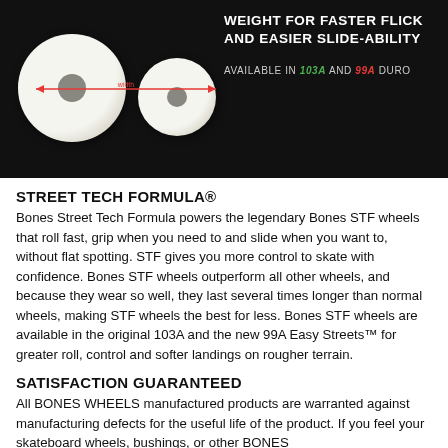[Figure (photo): Two white skateboard wheels (large and small) on a black background, with a dimension arrow, and text overlay: 'WEIGHT FOR FASTER FLICK AND EASIER SLIDE-ABILITY' and 'AVAILABLE IN 103A AND 99A DURO']
STREET TECH FORMULA®
Bones Street Tech Formula powers the legendary Bones STF wheels that roll fast, grip when you need to and slide when you want to, without flat spotting. STF gives you more control to skate with confidence. Bones STF wheels outperform all other wheels, and because they wear so well, they last several times longer than normal wheels, making STF wheels the best for less. Bones STF wheels are available in the original 103A and the new 99A Easy Streets™ for greater roll, control and softer landings on rougher terrain.
SATISFACTION GUARANTEED
All BONES WHEELS manufactured products are warranted against manufacturing defects for the useful life of the product. If you feel your skateboard wheels, bushings, or other BONES